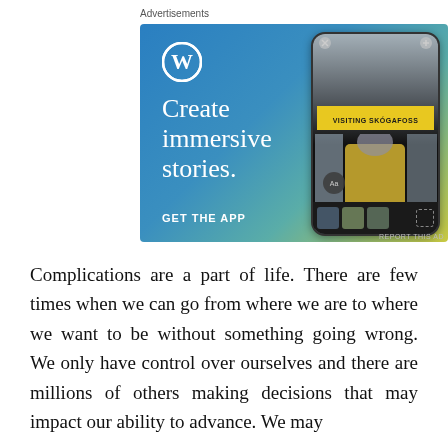Advertisements
[Figure (illustration): WordPress advertisement banner featuring a blue-to-yellow gradient background with WordPress logo, text 'Create immersive stories.' and 'GET THE APP', alongside a phone mockup showing a story titled 'VISITING SKÓGAFOSS' with a waterfall and person in yellow jacket.]
Complications are a part of life. There are few times when we can go from where we are to where we want to be without something going wrong. We only have control over ourselves and there are millions of others making decisions that may impact our ability to advance. We may